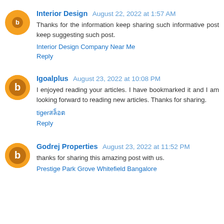Interior Design  August 22, 2022 at 1:57 AM
Thanks for the information keep sharing such informative post keep suggesting such post.
Interior Design Company Near Me
Reply
Igoalplus  August 23, 2022 at 10:08 PM
I enjoyed reading your articles. I have bookmarked it and I am looking forward to reading new articles. Thanks for sharing.
tigerสล็อต
Reply
Godrej Properties  August 23, 2022 at 11:52 PM
thanks for sharing this amazing post with us.
Prestige Park Grove Whitefield Bangalore